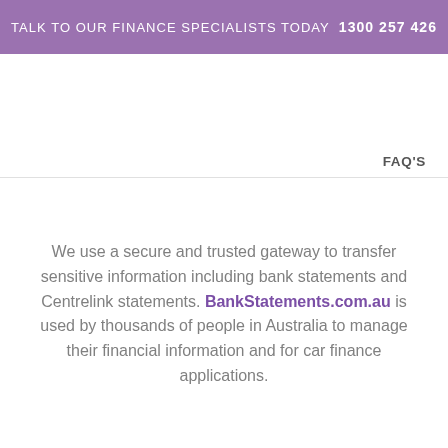TALK TO OUR FINANCE SPECIALISTS TODAY 1300 257 426
FAQ'S
We use a secure and trusted gateway to transfer sensitive information including bank statements and Centrelink statements. BankStatements.com.au is used by thousands of people in Australia to manage their financial information and for car finance applications.